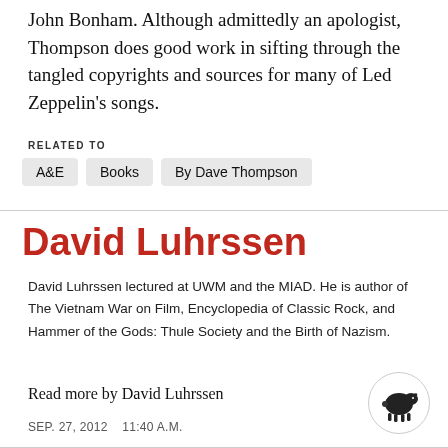John Bonham. Although admittedly an apologist, Thompson does good work in sifting through the tangled copyrights and sources for many of Led Zeppelin's songs.
RELATED TO
A&E
Books
By Dave Thompson
David Luhrssen
David Luhrssen lectured at UWM and the MIAD. He is author of The Vietnam War on Film, Encyclopedia of Classic Rock, and Hammer of the Gods: Thule Society and the Birth of Nazism.
Read more by David Luhrssen
[Figure (illustration): Black sheep silhouette icon inside a white circle with a light grey border]
SEP. 27, 2012   11:40 A.M.